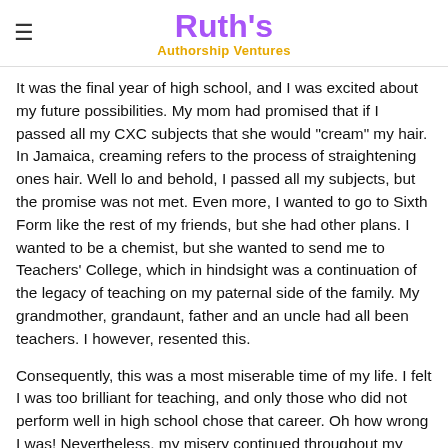Ruth's Authorship Ventures
It was the final year of high school, and I was excited about my future possibilities. My mom had promised that if I passed all my CXC subjects that she would "cream" my hair. In Jamaica, creaming refers to the process of straightening ones hair. Well lo and behold, I passed all my subjects, but the promise was not met. Even more, I wanted to go to Sixth Form like the rest of my friends, but she had other plans. I wanted to be a chemist, but she wanted to send me to Teachers' College, which in hindsight was a continuation of the legacy of teaching on my paternal side of the family. My grandmother, grandaunt, father and an uncle had all been teachers. I however, resented this.
Consequently, this was a most miserable time of my life. I felt I was too brilliant for teaching, and only those who did not perform well in high school chose that career. Oh how wrong I was! Nevertheless, my misery continued throughout my time in teachers' college, at the age of 17-20. During the first week of college, I had an accident and damaged my back. Then I became rebellious against my...